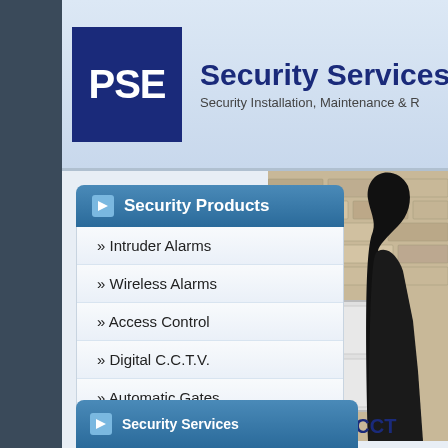[Figure (logo): PSE Security Services Ltd logo with blue square containing white PSE text]
Security Services Ltd
Security Installation, Maintenance & R
[Figure (photo): Photo of person in dark clothing against stone wall and white door/gate]
Security Products
» Intruder Alarms
» Wireless Alarms
» Access Control
» Digital C.C.T.V.
» Automatic Gates
» Automatic Barriers
Burglar Alarms,CCT
Security Services